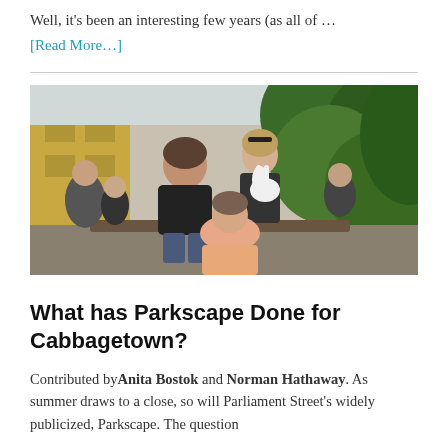Well, it's been an interesting few years (as all of …
[Read More…]
[Figure (photo): Outdoor photo of people sitting at an event. A bearded man in a black t-shirt and a woman holding a white rabbit are seated, with another woman in a peach top in front. Lush green foliage and a yellow building are visible in the background. Other people are gathered in the background.]
What has Parkscape Done for Cabbagetown?
Contributed byAnita Bostok and Norman Hathaway. As summer draws to a close, so will Parliament Street's widely publicized, Parkscape. The question